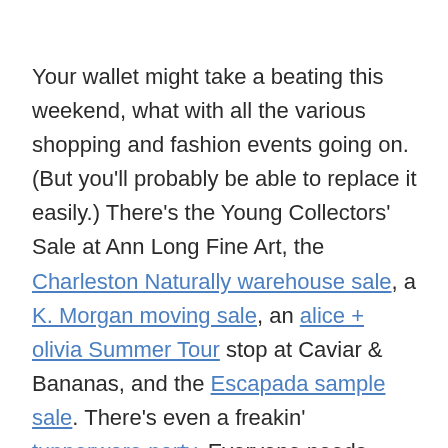Your wallet might take a beating this weekend, what with all the various shopping and fashion events going on. (But you'll probably be able to replace it easily.) There's the Young Collectors' Sale at Ann Long Fine Art, the Charleston Naturally warehouse sale, a K. Morgan moving sale, an alice + olivia Summer Tour stop at Caviar & Bananas, and the Escapada sample sale. There's even a freakin' tupperware party. Everyone needs stylish tupperware.
Aster Hall celebrates their one-year anniversary on Friday night with the opening of Points of Origin